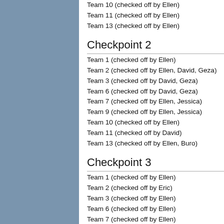Team 10 (checked off by Ellen)
Team 11 (checked off by Ellen)
Team 13 (checked off by Ellen)
Checkpoint 2
Team 1 (checked off by Ellen)
Team 2 (checked off by Ellen, David, Geza)
Team 3 (checked off by David, Geza)
Team 6 (checked off by David, Geza)
Team 7 (checked off by Ellen, Jessica)
Team 9 (checked off by Ellen, Jessica)
Team 10 (checked off by Ellen)
Team 11 (checked off by David)
Team 13 (checked off by Ellen, Buro)
Checkpoint 3
Team 1 (checked off by Ellen)
Team 2 (checked off by Eric)
Team 3 (checked off by Ellen)
Team 6 (checked off by Ellen)
Team 7 (checked off by Ellen)
Team 9 (checked off by Ellen)